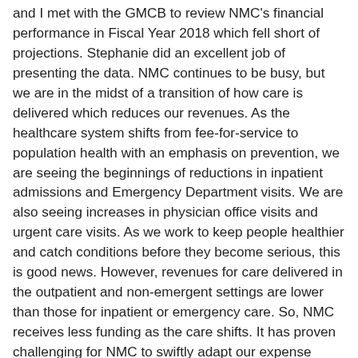and I met with the GMCB to review NMC's financial performance in Fiscal Year 2018 which fell short of projections. Stephanie did an excellent job of presenting the data. NMC continues to be busy, but we are in the midst of a transition of how care is delivered which reduces our revenues. As the healthcare system shifts from fee-for-service to population health with an emphasis on prevention, we are seeing the beginnings of reductions in inpatient admissions and Emergency Department visits. We are also seeing increases in physician office visits and urgent care visits. As we work to keep people healthier and catch conditions before they become serious, this is good news. However, revenues for care delivered in the outpatient and non-emergent settings are lower than those for inpatient or emergency care. So, NMC receives less funding as the care shifts. It has proven challenging for NMC to swiftly adapt our expense structure to match this shift in care and revenues, as the complexity of the patients we continue to care for on the inpatient unit and in the Emergency Department is high. For example, mental